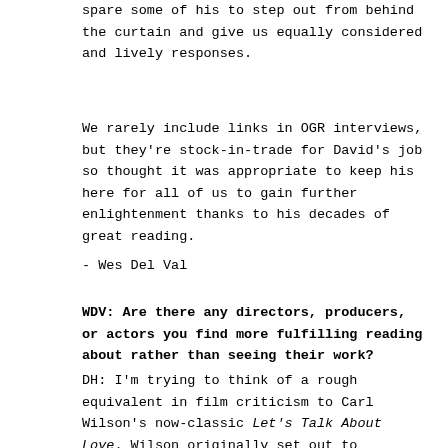spare some of his to step out from behind the curtain and give us equally considered and lively responses.
We rarely include links in OGR interviews, but they're stock-in-trade for David's job so thought it was appropriate to keep his here for all of us to gain further enlightenment thanks to his decades of great reading.
- Wes Del Val
WDV: Are there any directors, producers, or actors you find more fulfilling reading about rather than seeing their work?
DH: I'm trying to think of a rough equivalent in film criticism to Carl Wilson's now-classic Let's Talk About Love. Wilson originally set out to discover what it was